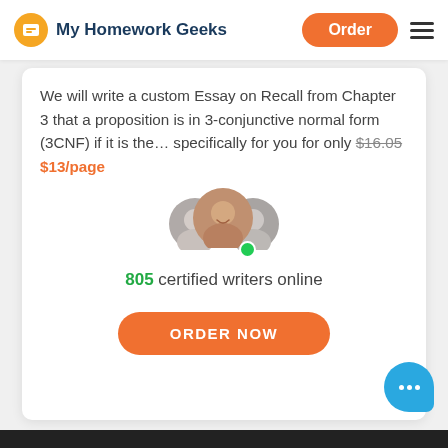My Homework Geeks | Order | Menu
We will write a custom Essay on Recall from Chapter 3 that a proposition is in 3-conjunctive normal form (3CNF) if it is the… specifically for you for only $16.05 $13/page
[Figure (photo): Three overlapping circular avatar photos of writers with a green online indicator dot]
805 certified writers online
ORDER NOW